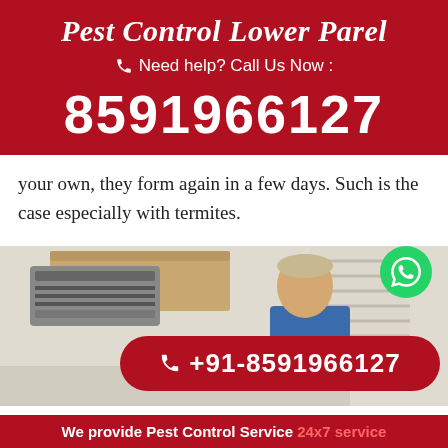Pest Control Lower Parel
Need help? Call Us Now :
8591966127
your own, they form again in a few days. Such is the case especially with termites.
[Figure (photo): Kitchen scene with a person looking at countertop, kitchen hood visible on left, with a red call-to-action pill showing +91-8591966127 and a WhatsApp button]
+91-8591966127
We provide Pest Control Service 24x7 service